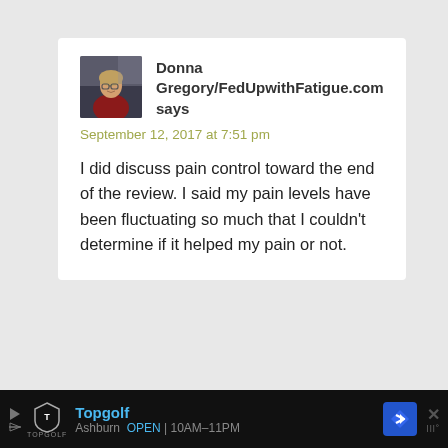[Figure (photo): Profile photo of Donna Gregory, a woman with glasses and red clothing]
Donna Gregory/FedUpwithFatigue.com says
September 12, 2017 at 7:51 pm
I did discuss pain control toward the end of the review. I said my pain levels have been fluctuating so much that I couldn't determine if it helped my pain or not.
[Figure (screenshot): Advertisement bar at bottom: Topgolf, Ashburn OPEN 10AM-11PM]